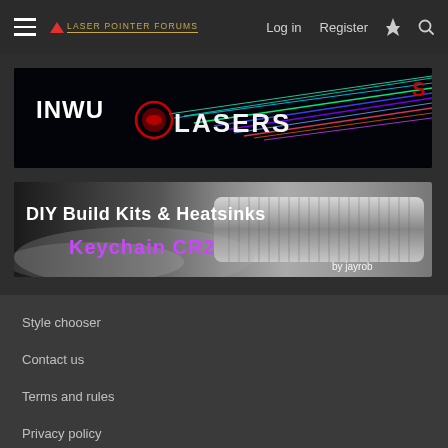Log in  Register
[Figure (photo): INWU Lasers banner advertisement with colorful laser beams on black background]
[Figure (photo): DIY Build Kits & Heatsinks - Keychain CR2 by jayrob advertisement showing silver laser hardware]
Style chooser
Contact us
Terms and rules
Privacy policy